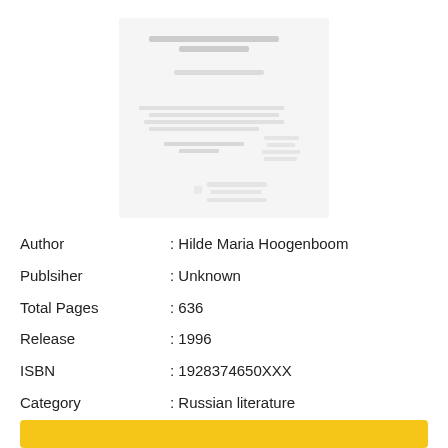[Figure (illustration): Blurred/redacted book cover image with text lines]
Author : Hilde Maria Hoogenboom
Publsiher : Unknown
Total Pages : 636
Release : 1996
ISBN : 1928374650XXX
Category : Russian literature
Language : EN, FR, DE, ES & NL